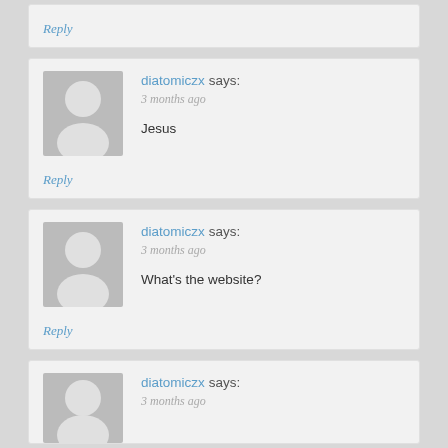Reply
diatomiczx says:
3 months ago

Jesus
Reply
diatomiczx says:
3 months ago

What's the website?
Reply
diatomiczx says:
3 months ago